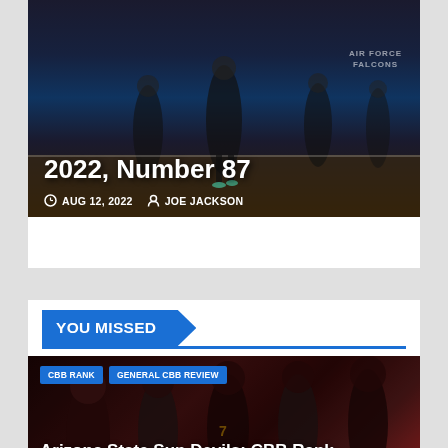[Figure (photo): Basketball players on court with dark background, partial view, header card of article about CBB Rank 2022 Number 87]
2022, Number 87
AUG 12, 2022  JOE JACKSON
YOU MISSED
[Figure (photo): Arizona State Sun Devils basketball players in dark maroon/black uniforms with gold trim, standing on court]
CBB RANK  GENERAL CBB REVIEW
Arizona State Sun Devils: CBB Rank 2022, Number 80